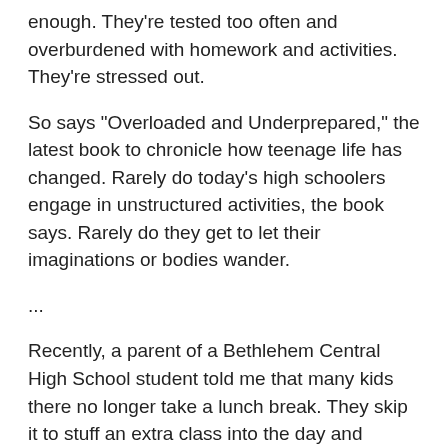enough. They're tested too often and overburdened with homework and activities. They're stressed out.
So says "Overloaded and Underprepared," the latest book to chronicle how teenage life has changed. Rarely do today's high schoolers engage in unstructured activities, the book says. Rarely do they get to let their imaginations or bodies wander.
...
Recently, a parent of a Bethlehem Central High School student told me that many kids there no longer take a lunch break. They skip it to stuff an extra class into the day and instead eat at their desks.
...
"There's a large number of our students who do